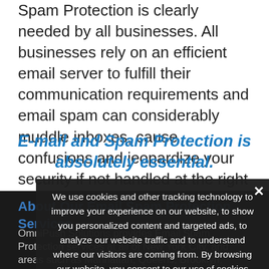Spam Protection is clearly needed by all businesses. All businesses rely on an efficient email server to fulfill their communication requirements and email spam can considerably muddle inboxes, cause confusions and jeopardize your security if not handled at the right time.
E-mail and Spam Protection is absolutely essential.
About Our Email Spam Protection Services
OmniPush Solutions provides Email Spam Protection services at all of New York City, and areas such as Manhattan, Queens, Brooklyn, Bronx, Long Island and Staten Island. Regardless of your location, we will
We use cookies and other tracking technology to improve your experience on our website, to show you personalized content and targeted ads, to analyze our website traffic and to understand where our visitors are coming from. By browsing our website, you consent to our use of cookies and other tracking technologies.